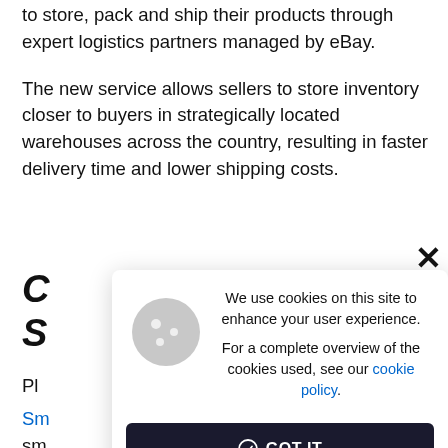to store, pack and ship their products through expert logistics partners managed by eBay.
The new service allows sellers to store inventory closer to buyers in strategically located warehouses across the country, resulting in faster delivery time and lower shipping costs.
C
S
Pl
Sm
sm
Fo
[Figure (screenshot): Cookie consent modal dialog with cookie icon, text 'We use cookies on this site to enhance your user experience. For a complete overview of the cookies used, see our cookie policy.' and a 'GOT IT' button. There is also an X close button in the upper right corner.]